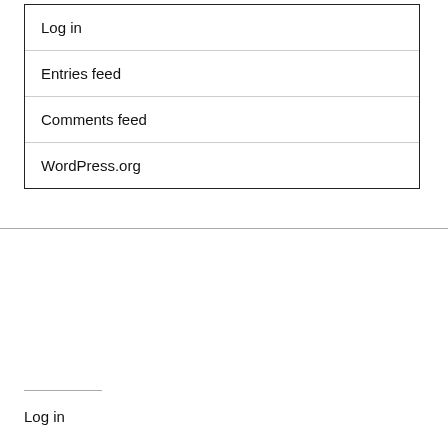Log in
Entries feed
Comments feed
WordPress.org
Log in